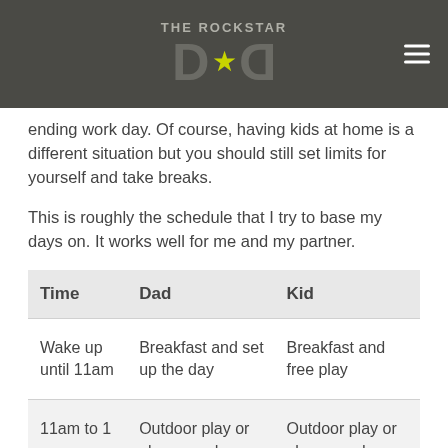THE ROCKSTAR DAD
ending work day. Of course, having kids at home is a different situation but you should still set limits for yourself and take breaks.
This is roughly the schedule that I try to base my days on. It works well for me and my partner.
| Time | Dad | Kid |
| --- | --- | --- |
| Wake up until 11am | Breakfast and set up the day | Breakfast and free play |
| 11am to 1 pm | Outdoor play or playground | Outdoor play or playground |